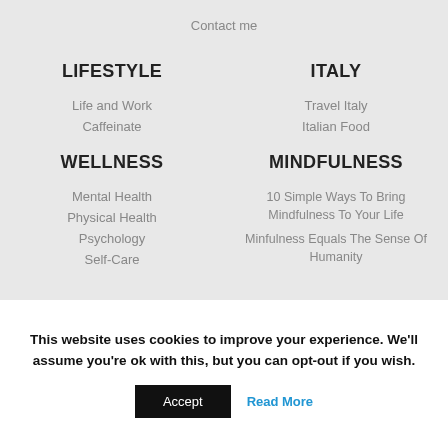Contact me
LIFESTYLE
Life and Work
Caffeinate
ITALY
Travel Italy
Italian Food
WELLNESS
Mental Health
Physical Health
Psychology
Self-Care
MINDFULNESS
10 Simple Ways To Bring Mindfulness To Your Life
Minfulness Equals The Sense Of Humanity
This website uses cookies to improve your experience. We'll assume you're ok with this, but you can opt-out if you wish.
Accept
Read More